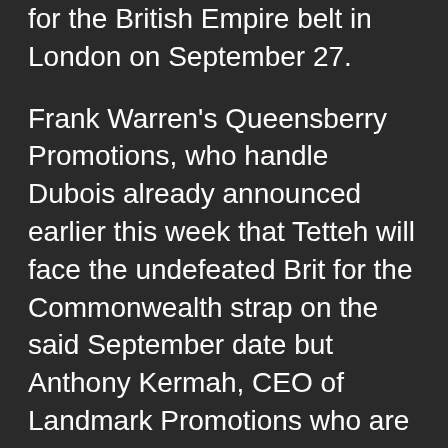for the British Empire belt in London on September 27.
Frank Warren's Queensberry Promotions, who handle Dubois already announced earlier this week that Tetteh will face the undefeated Brit for the Commonwealth strap on the said September date but Anthony Kermah, CEO of Landmark Promotions who are co-staging tonight's show in Accra with Cabic Promotions, emphasised that should Okolla emerge victorious over the home favourite, the Kenyan will thereby step up to the plate against Dubois next month.